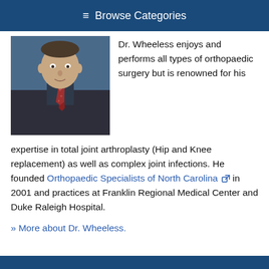☰ Browse Categories
[Figure (photo): Headshot of Dr. Wheeless wearing a dark suit and red patterned tie]
Dr. Wheeless enjoys and performs all types of orthopaedic surgery but is renowned for his expertise in total joint arthroplasty (Hip and Knee replacement) as well as complex joint infections. He founded Orthopaedic Specialists of North Carolina in 2001 and practices at Franklin Regional Medical Center and Duke Raleigh Hospital.
» More about Dr. Wheeless.